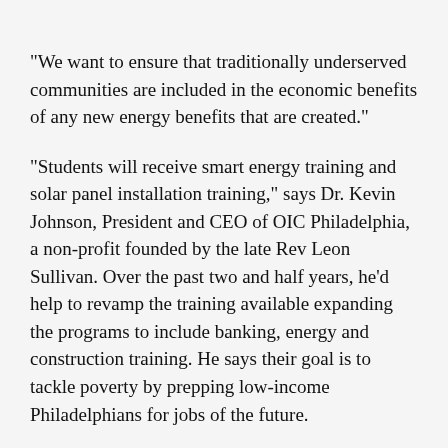"We want to ensure that traditionally underserved communities are included in the economic benefits of any new energy benefits that are created."
"Students will receive smart energy training and solar panel installation training," says Dr. Kevin Johnson, President and CEO of OIC Philadelphia, a non-profit founded by the late Rev Leon Sullivan. Over the past two and half years, he'd help to revamp the training available expanding the programs to include banking, energy and construction training. He says their goal is to tackle poverty by prepping low-income Philadelphians for jobs of the future.
"This is just the first step of imagining greatness," he